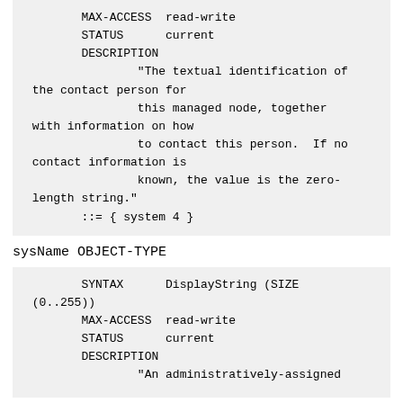MAX-ACCESS  read-write
        STATUS      current
        DESCRIPTION
                "The textual identification of the contact person for
                this managed node, together with information on how
                to contact this person.  If no contact information is
                known, the value is the zero-length string."
        ::= { system 4 }
sysName OBJECT-TYPE
SYNTAX      DisplayString (SIZE (0..255))
        MAX-ACCESS  read-write
        STATUS      current
        DESCRIPTION
                "An administratively-assigned